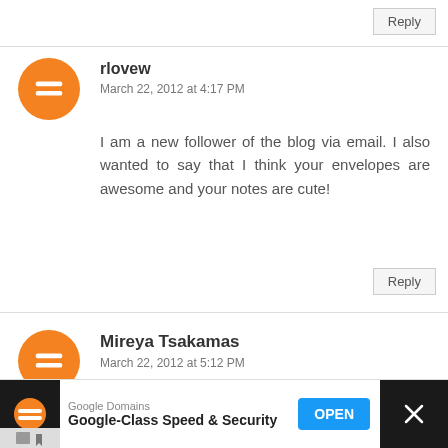Reply
rlovew
March 22, 2012 at 4:17 PM
I am a new follower of the blog via email. I also wanted to say that I think your envelopes are awesome and your notes are cute!
Reply
Mireya Tsakamas
March 22, 2012 at 5:12 PM
I like PSA on fb!
Reply
Google Domains
Google-Class Speed & Security
OPEN